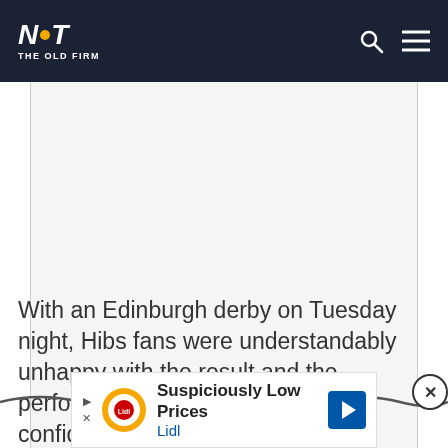NOT THE OLD FIRM
[Figure (other): Advertisement placeholder — large white/light grey rectangular area with vertical grey border lines on left and right sides]
With an Edinburgh derby on Tuesday night, Hibs fans were understandably unhappy with the result and the performance and Maloney is confident they don't need any motivation against Heart...
[Figure (other): Close button (X in circle) overlay on right side of page]
[Figure (other): Lidl advertisement banner: Suspiciously Low Prices — Lidl logo, play/close controls, and blue arrow icon]